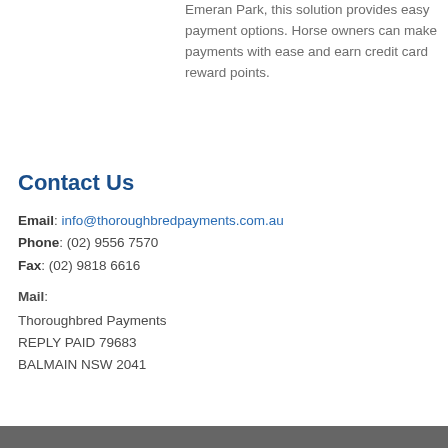Emeran Park, this solution provides easy payment options. Horse owners can make payments with ease and earn credit card reward points.
Contact Us
Email: info@thoroughbredpayments.com.au
Phone: (02) 9556 7570
Fax: (02) 9818 6616
Mail:
Thoroughbred Payments
REPLY PAID 79683
BALMAIN NSW 2041